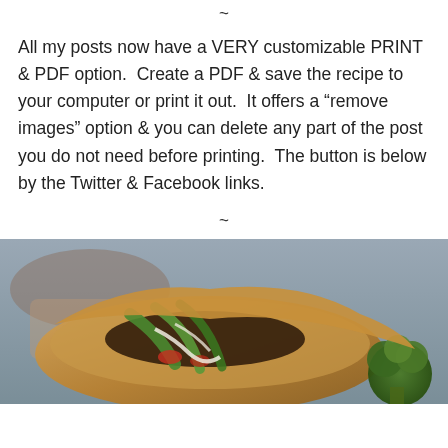~
All my posts now have a VERY customizable PRINT & PDF option.  Create a PDF & save the recipe to your computer or print it out.  It offers a “remove images” option & you can delete any part of the post you do not need before printing.  The button is below by the Twitter & Facebook links.
~
[Figure (photo): Close-up photo of a pita or flatbread sandwich filled with vegetables including green peppers and what appears to be beets or dark vegetables, with a sauce drizzle, and a broccoli floret visible on the side. The background is a muted blue-gray.]